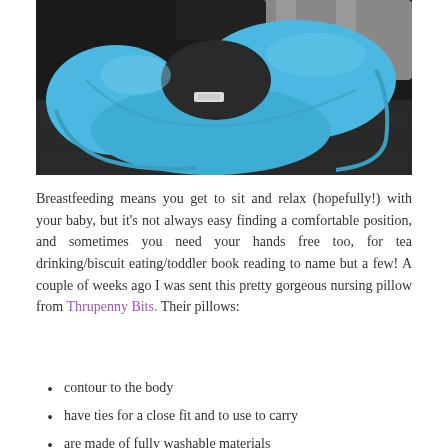[Figure (photo): Close-up photo of a blue nursing/breastfeeding pillow with a curved U-shape design, placed on a dark textured surface. The pillow has a light blue fabric cover with some grey/patterned fabric visible at the top.]
Breastfeeding means you get to sit and relax (hopefully!) with your baby, but it's not always easy finding a comfortable position, and sometimes you need your hands free too, for tea drinking/biscuit eating/toddler book reading to name but a few! A couple of weeks ago I was sent this pretty gorgeous nursing pillow from Thrupenny Bits. Their pillows:
contour to the body
have ties for a close fit and to use to carry
are made of fully washable materials